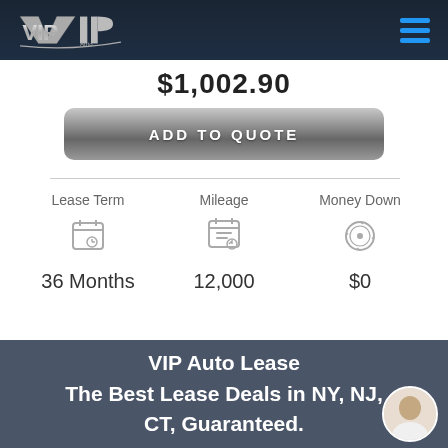[Figure (logo): VIP Auto logo in silver/chrome style on dark navy background with hamburger menu icon in blue]
$1,002.90
ADD TO QUOTE
| Lease Term | Mileage | Money Down |
| --- | --- | --- |
| 36 Months | 12,000 | $0 |
VIP Auto Lease
The Best Lease Deals in NY, NJ,
CT, Guaranteed.